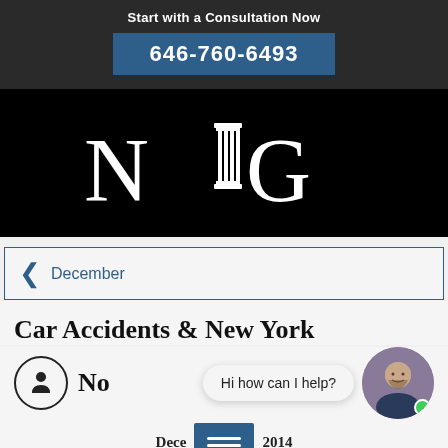Start with a Consultation Now
646-760-6493
[Figure (logo): NLG law firm logo with pillar icon between N and G on black background]
December
Car Accidents & New York No
Hi how can I help?
Dece 2014